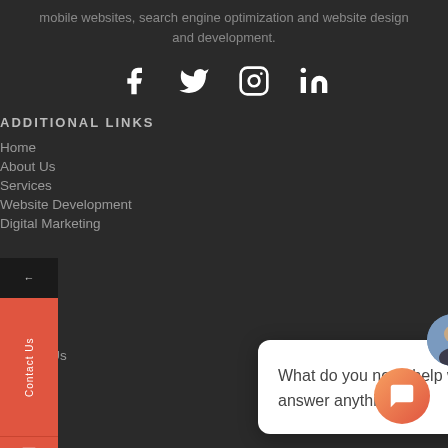mobile websites, search engine optimization and website design and development.
[Figure (other): Social media icons row: Facebook, Twitter, Instagram, LinkedIn]
ADDITIONAL LINKS
Home
About Us
Services
Website Development
Digital Marketing
PPC
Branding
Portfolio
Blog
Contact Us
[Figure (screenshot): Chat popup widget with avatar and close button, text: What do you need help with today? I'm able to answer anything!]
[Figure (other): Left sidebar with Contact Us tab and WhatsApp icon]
[Figure (other): Orange chat launcher button at bottom right]